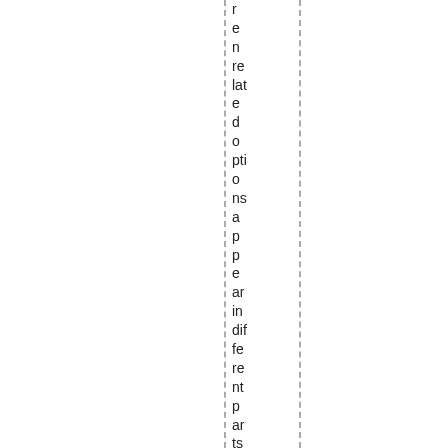n e n re lat e d o pti o ns a p p e ar in dif fe re nt p ar ts of th e p a g e